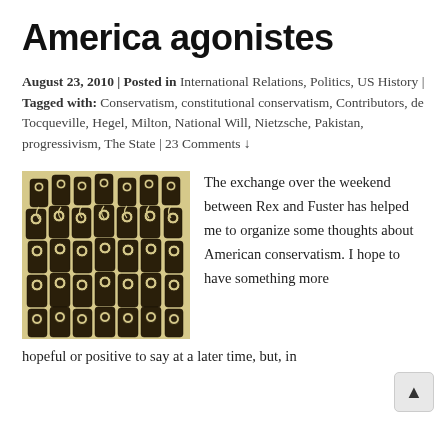America agonistes
August 23, 2010 | Posted in International Relations, Politics, US History | Tagged with: Conservatism, constitutional conservatism, Contributors, de Tocqueville, Hegel, Milton, National Will, Nietzsche, Pakistan, progressivism, The State | 23 Comments ↓
[Figure (illustration): Black and white illustration of a dense crowd of stylized robotic or mechanical figures with circular eyes, packed tightly together]
The exchange over the weekend between Rex and Fuster has helped me to organize some thoughts about American conservatism. I hope to have something more hopeful or positive to say at a later time, but, in